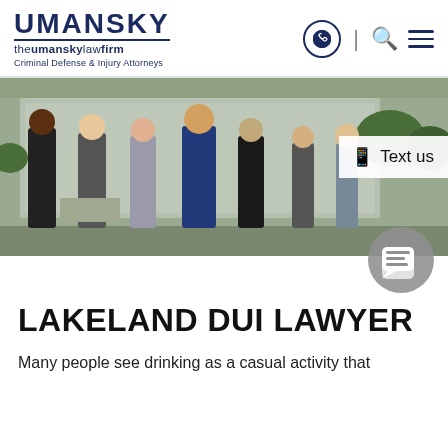UMANSKY | theumanskylawfirm | Criminal Defense & Injury Attorneys
[Figure (photo): Group photo of 7 attorneys in professional attire standing outside an office building. A 'Text us' button overlay appears on the right side of the image.]
LAKELAND DUI LAWYER
Many people see drinking as a casual activity that